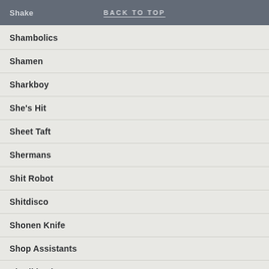Shake | BACK TO TOP
Shambolics
Shamen
Sharkboy
She's Hit
Sheet Taft
Shermans
Shit Robot
Shitdisco
Shonen Knife
Shop Assistants
Shreikback
Siddeleys